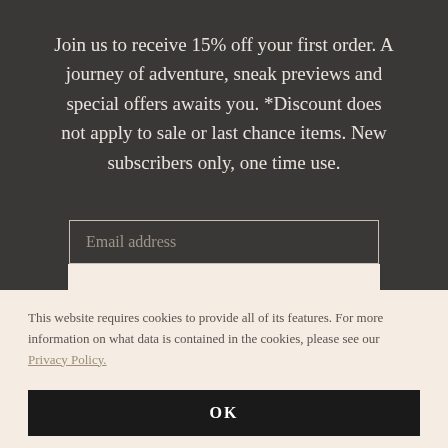Join us to receive 15% off your first order. A journey of adventure, sneak previews and special offers awaits you. *Discount does not apply to sale or last chance items. New subscribers only, one time use.
Email address
This website requires cookies to provide all of its features. For more information on what data is contained in the cookies, please see our Privacy Policy.
OK